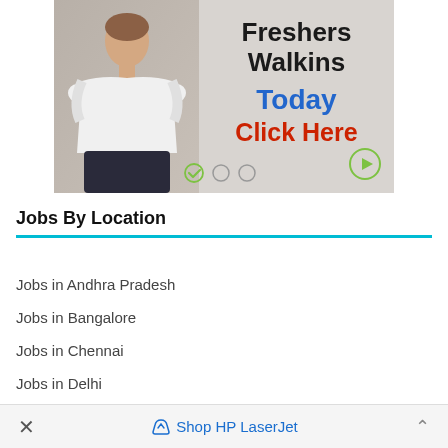[Figure (illustration): Advertisement banner showing a woman with arms crossed and text: Freshers Walkins, Today, Click Here with navigation controls]
Jobs By Location
Jobs in Andhra Pradesh
Jobs in Bangalore
Jobs in Chennai
Jobs in Delhi
Jobs in Gurgaon
× Shop HP LaserJet ˄